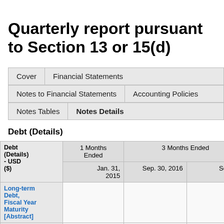Quarterly report pursuant to Section 13 or 15(d)
| Cover | Financial Statements | Notes to Financial Statements | Accounting Policies | Notes Tables | Notes Details |
| --- | --- | --- | --- | --- | --- |
Debt (Details)
| Debt (Details) - USD ($) | 1 Months Ended Jan. 31, 2015 | 3 Months Ended Sep. 30, 2016 | 3 Months Ended Sep. 30, 2015 | 9 Months Ended Sep. 30, 2016 |
| --- | --- | --- | --- | --- |
| Long-term Debt, Fiscal Year Maturity [Abstract] |  |  |  |  |
| Debt outstanding |  | $ 233,000,000 |  | $ 233,000,000 |